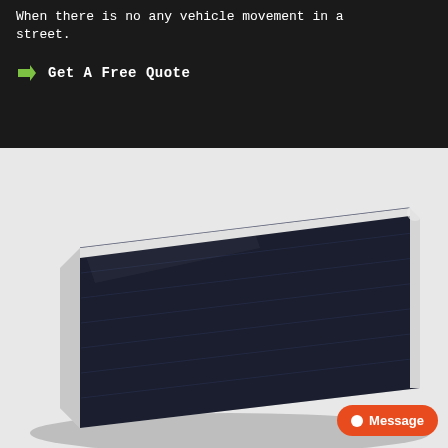When there is no any vehicle movement in a street.
→ Get A Free Quote
[Figure (photo): Angled perspective view of a solar panel with a dark blue photovoltaic surface and white aluminum frame, photographed against a white background.]
Message